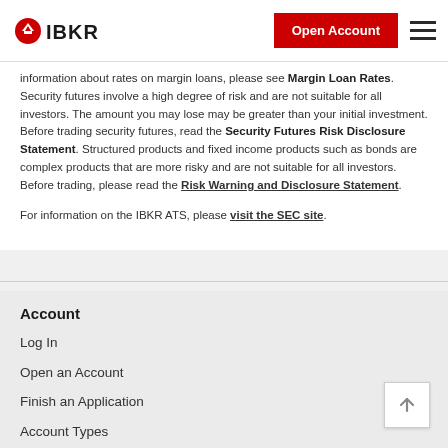IBKR | Open Account
information about rates on margin loans, please see Margin Loan Rates. Security futures involve a high degree of risk and are not suitable for all investors. The amount you may lose may be greater than your initial investment. Before trading security futures, read the Security Futures Risk Disclosure Statement. Structured products and fixed income products such as bonds are complex products that are more risky and are not suitable for all investors. Before trading, please read the Risk Warning and Disclosure Statement.
For information on the IBKR ATS, please visit the SEC site.
Account
Log In
Open an Account
Finish an Application
Account Types
Free Trial
Software & Downloads
Trader Workstation